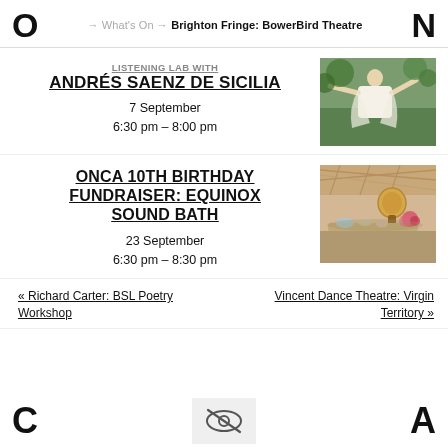O → What's On → Brighton Fringe: BowerBird Theatre N
LISTENING LAB WITH ANDRÉS SAENZ DE SICILIA
7 September
6:30 pm – 8:00 pm
[Figure (photo): Person in white flowing garment with arms outstretched outdoors with green foliage behind]
ONCA 10TH BIRTHDAY FUNDRAISER: EQUINOX SOUND BATH
23 September
6:30 pm – 8:30 pm
[Figure (photo): Interior of a yurt or tent with instruments including singing bowls, flowers on a table, warm wooden tones]
« Richard Carter: BSL Poetry Workshop
Vincent Dance Theatre: Virgin Territory »
C [eye icon] A